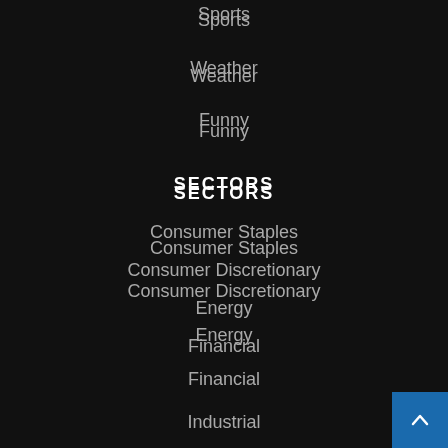Sports
Weather
Funny
SECTORS
Consumer Staples
Consumer Discretionary
Energy
Financial
Industrial
Materials
Real Estate
Technology
Telecom